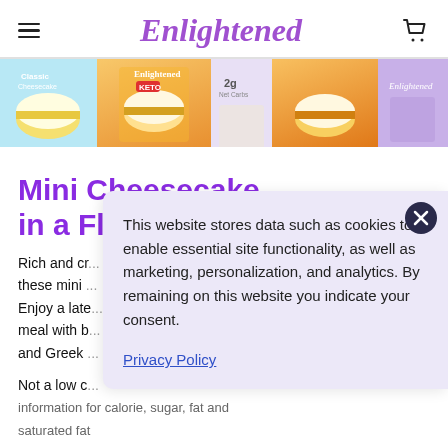Enlightened
[Figure (photo): Hero banner showing Enlightened brand product packaging including keto cheesecake boxes with orange and purple colors]
Mini Cheesecake in a Flash
Rich and cr... these mini ... Enjoy a late... meal with b... and Greek...
Not a low c... information for calorie, sugar, fat and saturated fat
This website stores data such as cookies to enable essential site functionality, as well as marketing, personalization, and analytics. By remaining on this website you indicate your consent.
Privacy Policy